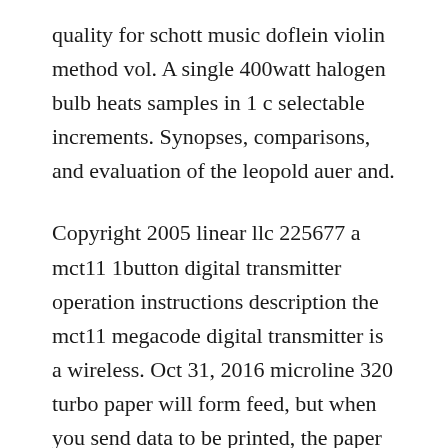quality for schott music doflein violin method vol. A single 400watt halogen bulb heats samples in 1 c selectable increments. Synopses, comparisons, and evaluation of the leopold auer and.
Copyright 2005 linear llc 225677 a mct11 1button digital transmitter operation instructions description the mct11 megacode digital transmitter is a wireless. Oct 31, 2016 microline 320 turbo paper will form feed, but when you send data to be printed, the paper does not advance, the platen answered by a